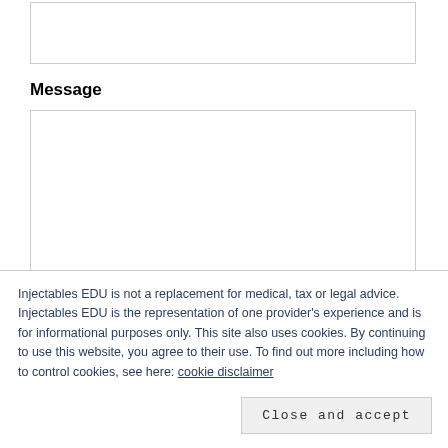[Figure (other): Empty text input field with border]
Message
[Figure (other): Empty textarea input field with border]
Injectables EDU is not a replacement for medical, tax or legal advice. Injectables EDU is the representation of one provider's experience and is for informational purposes only. This site also uses cookies. By continuing to use this website, you agree to their use. To find out more including how to control cookies, see here: cookie disclaimer
Close and accept